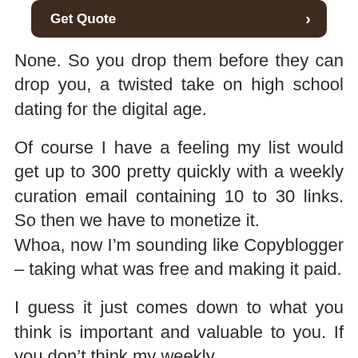[Figure (other): Dark brown rounded button labeled 'Get Quote' with a right arrow]
None. So you drop them before they can drop you, a twisted take on high school dating for the digital age.
Of course I have a feeling my list would get up to 300 pretty quickly with a weekly curation email containing 10 to 30 links. So then we have to monetize it. Whoa, now I’m sounding like Copyblogger – taking what was free and making it paid.
I guess it just comes down to what you think is important and valuable to you. If you don’t think my weekly